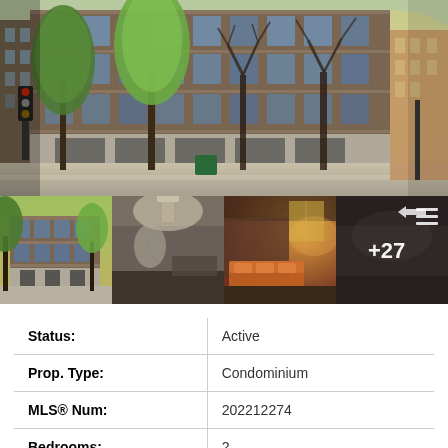[Figure (photo): Main exterior photo of a multi-story brick condominium building with large windows, surrounded by trees with spring foliage, taken at golden hour with warm sunlight.]
[Figure (photo): Row of four thumbnail photos: (1) exterior of condo building from street angle, (2) lobby interior with art and curved ceiling, (3) living room interior with warm lighting and orange furniture, (4) dark/dimmed room with +27 overlay indicating more photos.]
| Field | Value |
| --- | --- |
| Status: | Active |
| Prop. Type: | Condominium |
| MLS® Num: | 202212274 |
| Bedrooms: | 2 |